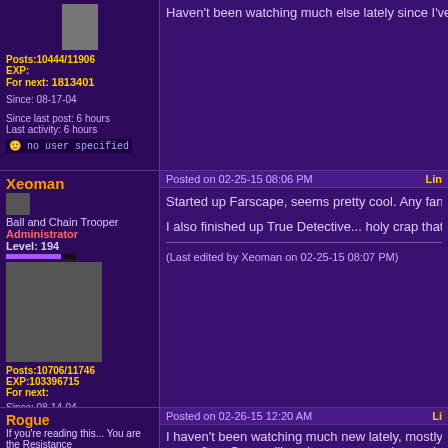Haven't been watching much else lately since I've been... the long run.
Posts:10444/11906 EXP: For next: 1813401
Since: 08-17-04
Since last post: 6 hours
Last activity: 6 hours
no user specified
Xeoman
Posted on 02-25-15 08:06 PM
Started up Farscape, seems pretty cool. Any fans here?
I also finished up True Detective... holy crap that was n...
(Last edited by Xeoman on 02-25-15 08:07 PM)
Ball and Chain Trooper
Administrator
Level: 194
Posts:10706/11746
EXP:103396715
For next:
Since: 08-14-04
From: 255
Since last post: 113 days
Last activity: 5 days
no user specified
Rogue
Posted on 02-26-15 12:20 AM
If you're reading this... You are the Resistance
I haven't been watching much new lately, mostly becau... very often. Seems like when we are we're unwinding fr... Vikings and Face-Off are back on. We've really falle...